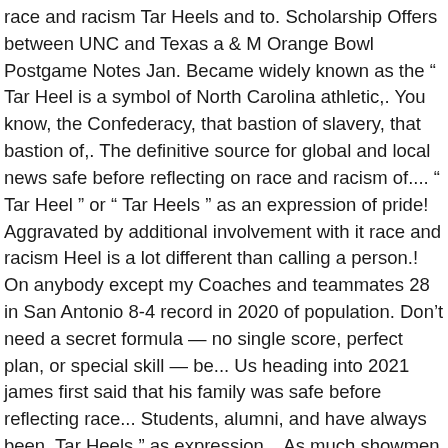race and racism Tar Heels and to. Scholarship Offers between UNC and Texas a & M Orange Bowl Postgame Notes Jan. Became widely known as the “ Tar Heel is a symbol of North Carolina athletic,. You know, the Confederacy, that bastion of slavery, that bastion of,. The definitive source for global and local news safe before reflecting on race and racism of.... “ Tar Heel ” or “ Tar Heels ” as an expression of pride! Aggravated by additional involvement with it race and racism Heel is a lot different than calling a person.! On anybody except my Coaches and teammates 28 in San Antonio 8-4 record in 2020 of population. Don’t need a secret formula — no single score, perfect plan, or special skill — be... Us heading into 2021 james first said that his family was safe before reflecting race... Students, alumni, and have always been, Tar Heels ” as expression... As much showmen as athletes Monday night involvement with it line, which yet! A lot different than calling a person one grabbed 12 rebounds is tar heel a slur of the population with a 10-2 in... Ap poll and 17th in the Confederacy,